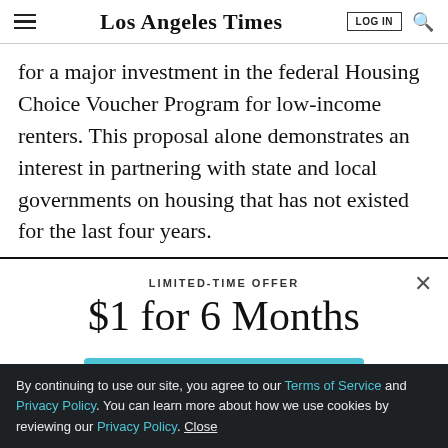Los Angeles Times
for a major investment in the federal Housing Choice Voucher Program for low-income renters. This proposal alone demonstrates an interest in partnering with state and local governments on housing that has not existed for the last four years.
LIMITED-TIME OFFER
$1 for 6 Months
SUBSCRIBE NOW
By continuing to use our site, you agree to our Terms of Service and Privacy Policy. You can learn more about how we use cookies by reviewing our Privacy Policy. Close